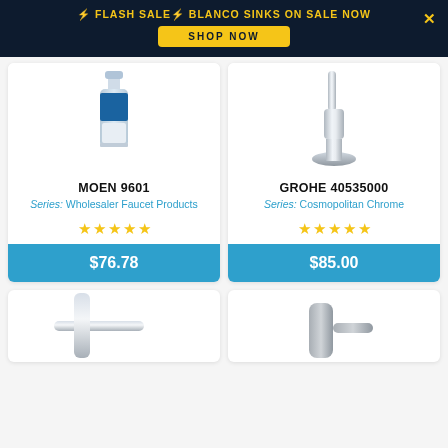⚡ FLASH SALE⚡ BLANCO SINKS ON SALE NOW — SHOP NOW
[Figure (photo): Moen 9601 water filter cartridge product image, partially cut off at top]
MOEN 9601
Series: Wholesaler Faucet Products
★★★★★
$76.78
[Figure (photo): Grohe 40535000 chrome faucet product image, partially cut off at top]
GROHE 40535000
Series: Cosmopolitan Chrome
★★★★★
$85.00
[Figure (photo): Chrome kitchen faucet product, partially visible at bottom of page]
[Figure (photo): Brushed nickel faucet product, partially visible at bottom of page]